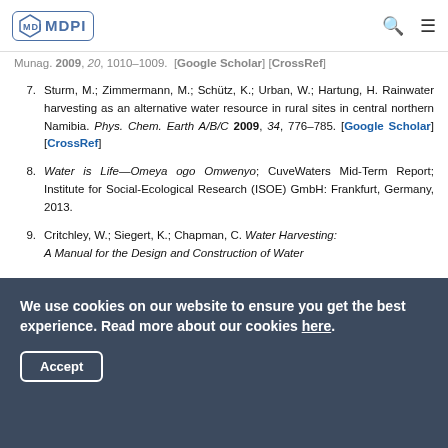MDPI
Munag. 2009, 20, 1010-1009. [Google Scholar] [CrossRef]
7. Sturm, M.; Zimmermann, M.; Schütz, K.; Urban, W.; Hartung, H. Rainwater harvesting as an alternative water resource in rural sites in central northern Namibia. Phys. Chem. Earth A/B/C 2009, 34, 776–785. [Google Scholar] [CrossRef]
8. Water is Life—Omeya ogo Omwenyo; CuveWaters Mid-Term Report; Institute for Social-Ecological Research (ISOE) GmbH: Frankfurt, Germany, 2013.
9. Critchley, W.; Siegert, K.; Chapman, C. Water Harvesting: A Manual for the Design and Construction of Water...
We use cookies on our website to ensure you get the best experience. Read more about our cookies here.
Accept